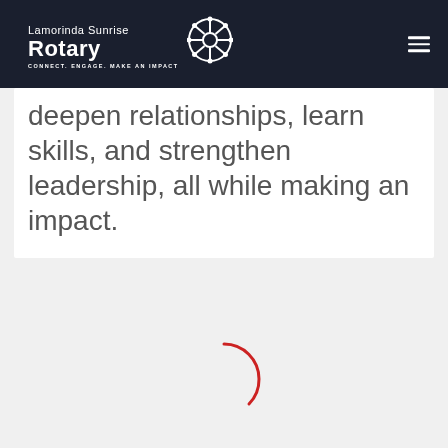Lamorinda Sunrise Rotary — CONNECT. ENGAGE. MAKE AN IMPACT
deepen relationships, learn skills, and strengthen leadership, all while making an impact.
[Figure (other): Red loading spinner arc in the lower center of the page on a light gray background]